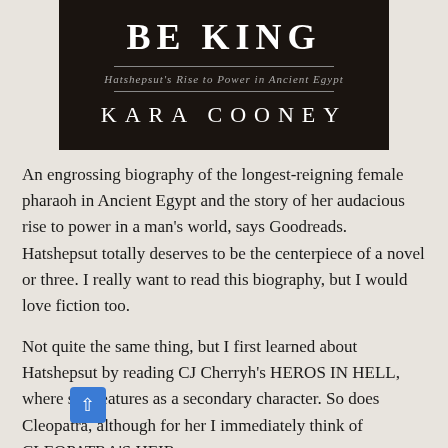[Figure (illustration): Book cover for 'The Woman Who Would Be King: Hatshepsut's Rise to Power in Ancient Egypt' by Kara Cooney. Dark brown/black background with white title text and gray subtitle and author name.]
An engrossing biography of the longest-reigning female pharaoh in Ancient Egypt and the story of her audacious rise to power in a man’s world, says Goodreads. Hatshepsut totally deserves to be the centerpiece of a novel or three. I really want to read this biography, but I would love fiction too.
Not quite the same thing, but I first learned about Hatshepsut by reading CJ Cherryh’s HEROS IN HELL, where she features as a secondary character. So does Cleopatra, although for her I immediately think of CLEOPATRA’S HEIR